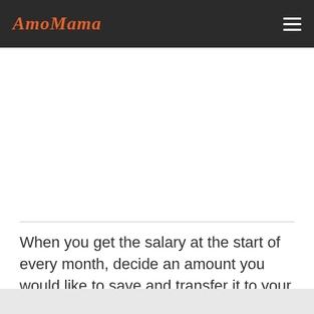AmoMama
When you get the salary at the start of every month, decide an amount you would like to save and transfer it to your savings account the same day you receive your paycheck. It will make you feel like you never received